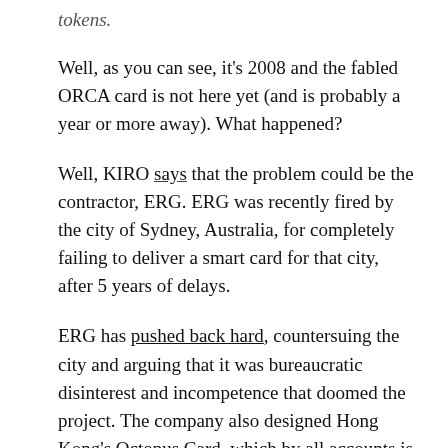tokens.
Well, as you can see, it's 2008 and the fabled ORCA card is not here yet (and is probably a year or more away). What happened?
Well, KIRO says that the problem could be the contractor, ERG. ERG was recently fired by the city of Sydney, Australia, for completely failing to deliver a smart card for that city, after 5 years of delays.
ERG has pushed back hard, countersuing the city and arguing that it was bureaucratic disinterest and incompetence that doomed the project. The company also designed Hong Kong's Octopus Card, which by all accounts is incredible successful, so I wouldn't be so quick to put all the blame on them.